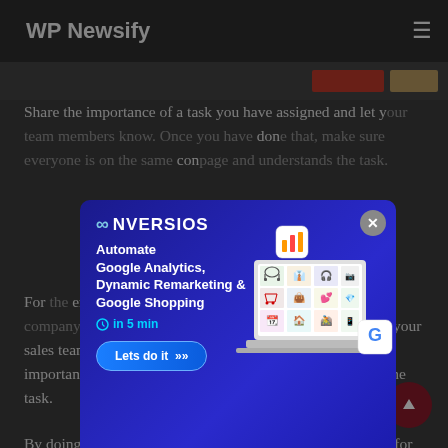WP Newsify
Share the importance of a task you have assigned and let you done con
For emp on beh ng team to reach out to your sales team to support their sales efforts, and explain why it's important and see if someone has any questions regarding the task.
[Figure (screenshot): Conversios plugin advertisement modal overlay with logo, headline 'Automate Google Analytics, Dynamic Remarketing & Google Shopping in 5 min', 'Lets do it' button, and product illustration]
By doing this, you offer essential information and chance for an employee to ask questions they may